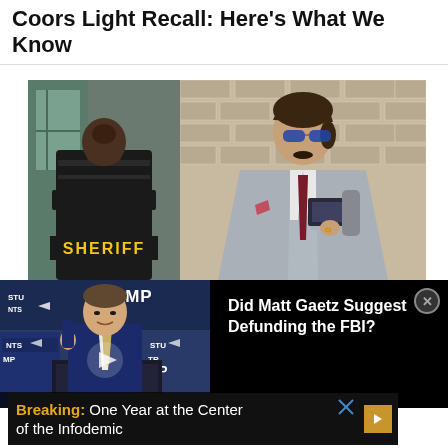Coors Light Recall: Here's What We Know
[Figure (photo): Two-photo composite: left photo shows a law enforcement officer in a black vest with SHERIFF text visible from behind; right photo shows a man in a grey suit with sunglasses holding items against a brick wall background.]
[Figure (screenshot): Video thumbnail showing a man in a navy suit (Matt Gaetz) speaking at a podium against a Trump rally backdrop with blue/white banners and 'STUDENTS' text bar at bottom.]
Did Matt Gaetz Suggest Defunding the FBI?
Breaking: One Year at the Center of the Infodemic